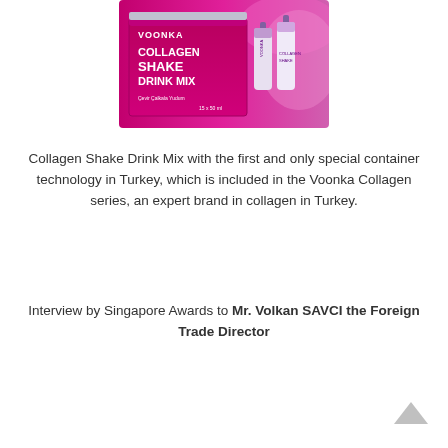[Figure (photo): Voonka Collagen Shake Drink Mix product packaging — a pink box with small bottles, showing brand name VOONKA and product name COLLAGEN SHAKE DRINK MIX]
Collagen Shake Drink Mix with the first and only special container technology in Turkey, which is included in the Voonka Collagen series, an expert brand in collagen in Turkey.
Interview by Singapore Awards to Mr. Volkan SAVCI the Foreign Trade Director